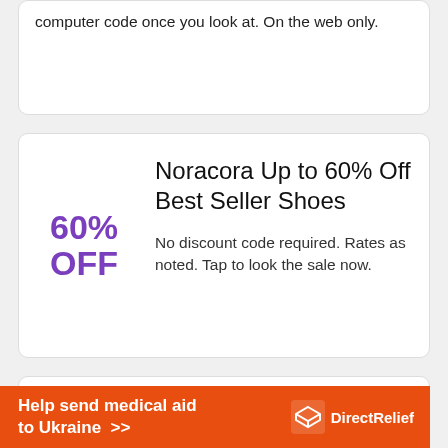computer code once you look at. On the web only.
60% OFF
Noracora Up to 60% Off Best Seller Shoes
No discount code required. Rates as noted. Tap to look the sale now.
$5 OFF
Noracora $5 Off 2021 Summer Collection Orders $69+
Tap offer you to copy the coupon
Help send medical aid to Ukraine >> DirectRelief